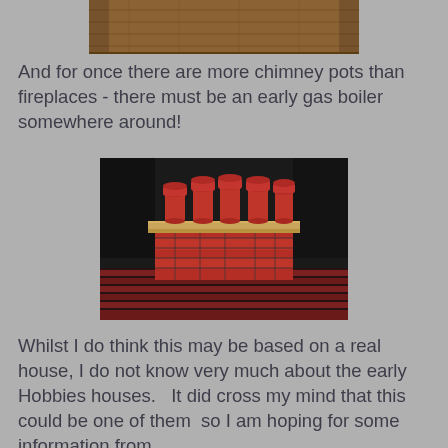[Figure (photo): Partial top photo showing a wooden floor surface]
And for once there are more chimney pots than fireplaces - there must be an early gas boiler somewhere around!
[Figure (photo): A miniature/model chimney stack with five red chimney pots on a brick base, sitting on a patterned floor]
Whilst I do think this may be based on a real house, I do not know very much about the early Hobbies houses.  It did cross my mind that this could be one of them  so I am hoping for some information from